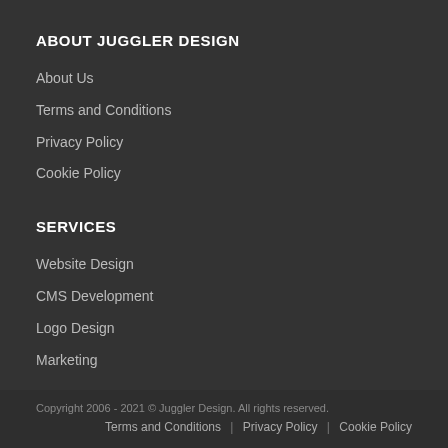ABOUT JUGGLER DESIGN
About Us
Terms and Conditions
Privacy Policy
Cookie Policy
SERVICES
Website Design
CMS Development
Logo Design
Marketing
Copyright 2006 - 2021 © Juggler Design. All rights reserved.   Terms and Conditions | Privacy Policy | Cookie Policy